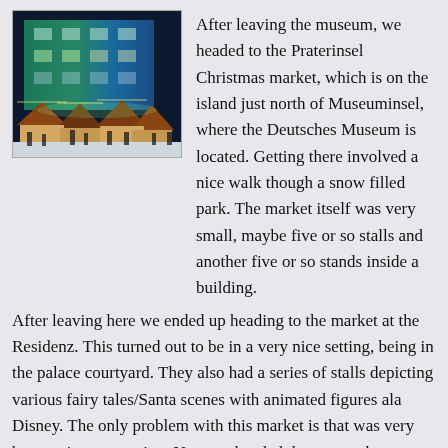[Figure (photo): Night photograph of a Christmas market with illuminated green and blue building in background, wooden market stalls in foreground, people walking in snowy setting]
After leaving the museum, we headed to the Praterinsel Christmas market, which is on the island just north of Museuminsel, where the Deutsches Museum is located. Getting there involved a nice walk though a snow filled park. The market itself was very small, maybe five or so stalls and another five or so stands inside a building.
After leaving here we ended up heading to the market at the Residenz. This turned out to be in a very nice setting, being in the palace courtyard. They also had a series of stalls depicting various fairy tales/Santa scenes with animated figures ala Disney. The only problem with this market is that was very busy as it was evening. Next we headed down past the Rathaus to the second major department store so Suzanne could look for warmer socks and Kyle could take a turn through the toy department. We then headed off to dinner, deciding to check out Steinheil 16 near the apartment, figuring if it wasn't good, we could stop by the supermarket. It turned out to work well, though luckily we got the the last free table. Kyle ate the noodles we had brought, but both Suzanne and I had had excellent, and huge,